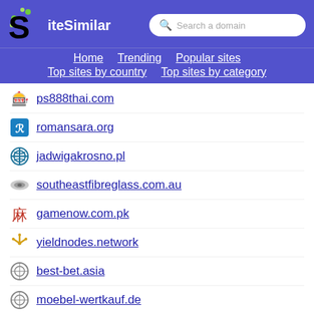SiteSimilar — Search a domain
Home
Trending
Popular sites
Top sites by country
Top sites by category
ps888thai.com
romansara.org
jadwigakrosno.pl
southeastfibreglass.com.au
gamenow.com.pk
yieldnodes.network
best-bet.asia
moebel-wertkauf.de
ranker.com